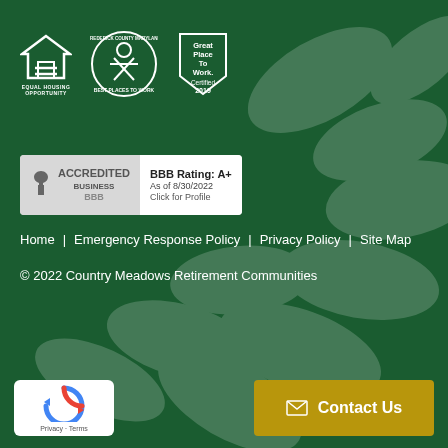[Figure (logo): Equal Housing Opportunity logo - white house with equal sign]
[Figure (logo): Frederick County Maryland Best Places to Work seal/badge]
[Figure (logo): Great Place To Work Certified 2019 badge]
[Figure (logo): BBB Accredited Business badge with rating A+, As of 8/30/2022, Click for Profile]
Home  |  Emergency Response Policy  |  Privacy Policy  |  Site Map
© 2022 Country Meadows Retirement Communities
[Figure (logo): reCAPTCHA Privacy - Terms logo]
Contact Us